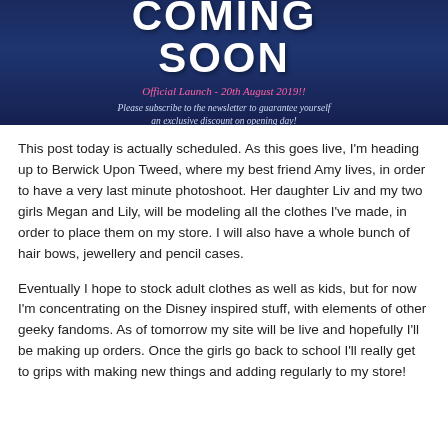[Figure (infographic): Dark navy blue banner with 'COMING SOON' in large bold white uppercase text, a pink italic subtitle 'Official Launch - 20th August 2019!!', and a light blue italic text 'Please subscribe to the newsletter to guarantee yourself an exclusive discount on opening day!']
This post today is actually scheduled. As this goes live, I'm heading up to Berwick Upon Tweed, where my best friend Amy lives, in order to have a very last minute photoshoot. Her daughter Liv and my two girls Megan and Lily, will be modeling all the clothes I've made, in order to place them on my store. I will also have a whole bunch of hair bows, jewellery and pencil cases.
Eventually I hope to stock adult clothes as well as kids, but for now I'm concentrating on the Disney inspired stuff, with elements of other geeky fandoms. As of tomorrow my site will be live and hopefully I'll be making up orders. Once the girls go back to school I'll really get to grips with making new things and adding regularly to my store!